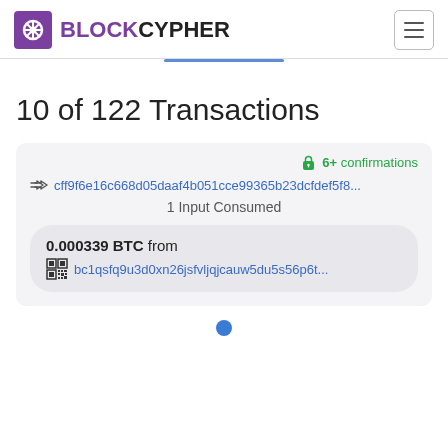BLOCKCYPHER
10 of 122 Transactions
6+ confirmations
cff9f6e16c668d05daaf4b051cce99365b23dcfdef5f8...
1 Input Consumed
0.000339 BTC from
bc1qsfq9u3d0xn26jsfvljqjcauw5du5s56p6t...